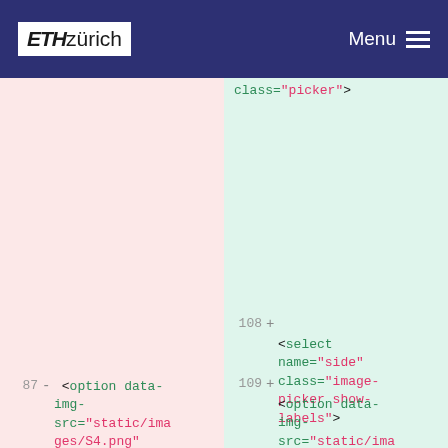ETH zürich  Menu
[Figure (screenshot): A code diff viewer showing HTML code changes side by side. Left (pink) panel shows deleted code, right (green) panel shows added code. Lines 86-87 on left, lines 108-109 on right. Code includes HTML option and select elements with data-img-src attributes and values for Country Cuts, Chips, Onion Rings on left; picker, select name=side class=image-picker show-labels, option data-img-src Pomme on right.]